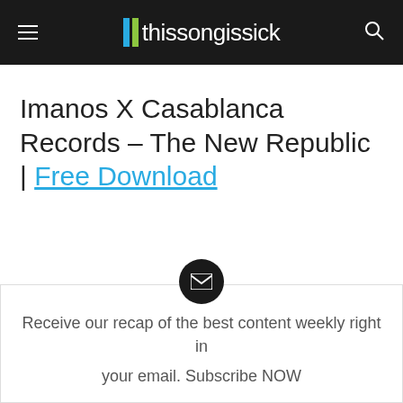thissongissick
Imanos X Casablanca Records – The New Republic | Free Download
Receive our recap of the best content weekly right in your email. Subscribe NOW